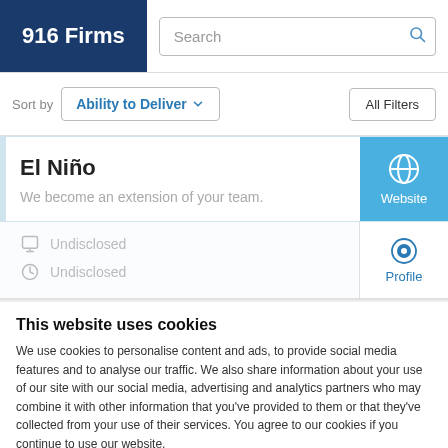916 Firms
Search
Sort by Ability to Deliver
All Filters
El Niño
We become an extension of your team.
Website
Undisclosed
Undisclosed
Profile
This website uses cookies
We use cookies to personalise content and ads, to provide social media features and to analyse our traffic. We also share information about your use of our site with our social media, advertising and analytics partners who may combine it with other information that you've provided to them or that they've collected from your use of their services. You agree to our cookies if you continue to use our website.
Close
Show details